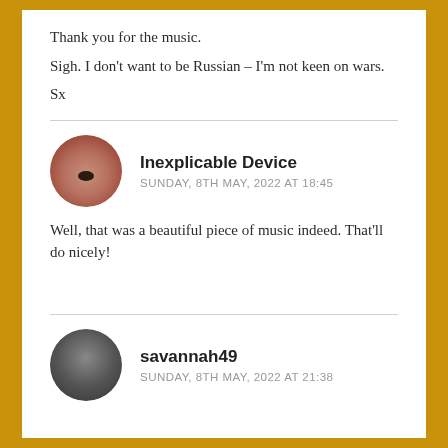Thank you for the music.
Sigh. I don't want to be Russian – I'm not keen on wars.
Sx
Inexplicable Device
SUNDAY, 8TH MAY, 2022 AT 18:45
Well, that was a beautiful piece of music indeed. That'll do nicely!
savannah49
SUNDAY, 8TH MAY, 2022 AT 21:38